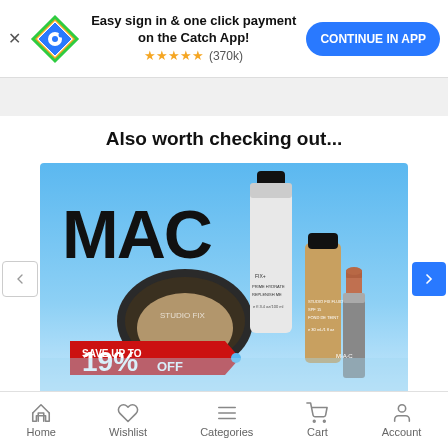[Figure (screenshot): Catch app banner with logo, 'Easy sign in & one click payment on the Catch App!' text, 5-star rating (370k reviews), and 'CONTINUE IN APP' blue button]
Also worth checking out...
[Figure (photo): MAC cosmetics promotional banner on blue gradient background showing MAC logo text, compact powder, foundation spray, liquid foundation, and lipstick products with red tag 'SAVE UP TO 19% OFF']
Home  Wishlist  Categories  Cart  Account